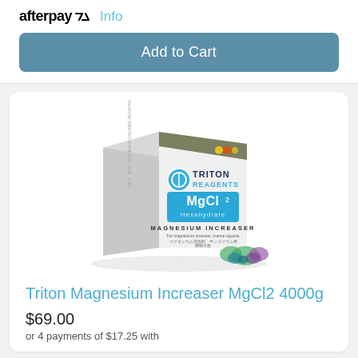[Figure (logo): Afterpay logo with arrows and Info link]
Add to Cart
[Figure (photo): Triton Reagents MgCl2 Hexahydrate Magnesium Increaser product box with coral decoration]
Triton Magnesium Increaser MgCl2 4000g
$69.00
or 4 payments of $17.25 with